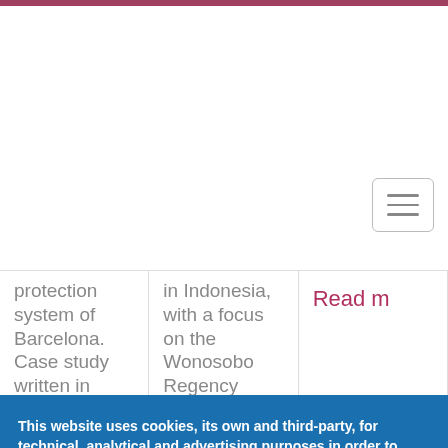[Figure (screenshot): Website navigation bar with hamburger menu button on right side, purple/maroon top border strip]
protection system of Barcelona. Case study written in 2010.
in Indonesia, with a focus on the Wonosobo Regency experience.
Read m
This website uses cookies, its own and third-party, for technical, analytical and advertising purposes in order to offer you a better experience. If you continue to browse, you are agreeing to our cookies policy. You can change these settings at any time by clicking on More information More info
Accept
No, thanks